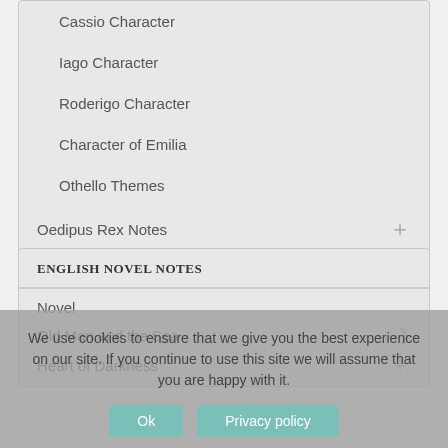Cassio Character
Iago Character
Roderigo Character
Character of Emilia
Othello Themes
Oedipus Rex Notes
Arms and the Man
ENGLISH NOVEL NOTES
Novel
Old Man and the Sea
Heart of Darkness
We use cookies to ensure that we give you the best experience on our site. If you continue to use this site we will assume that you are happy with it.